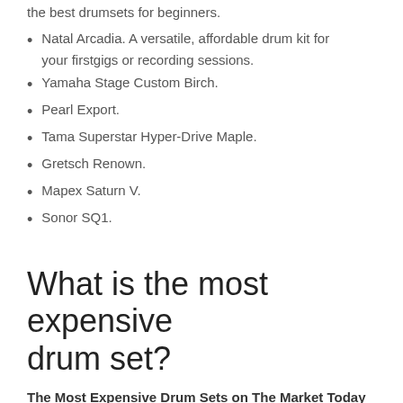the best drumsets for beginners.
Natal Arcadia. A versatile, affordable drum kit for your firstgigs or recording sessions.
Yamaha Stage Custom Birch.
Pearl Export.
Tama Superstar Hyper-Drive Maple.
Gretsch Renown.
Mapex Saturn V.
Sonor SQ1.
What is the most expensive drum set?
The Most Expensive Drum Sets on The Market Today
The DW Timeless Timber Romanian River Oak Kit